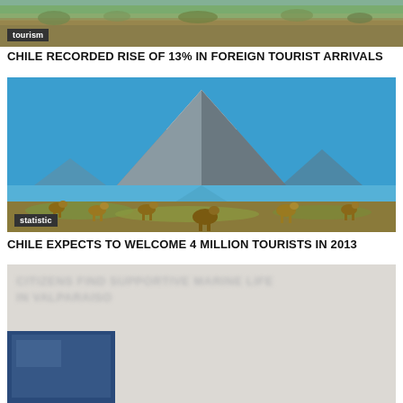[Figure (photo): Landscape photo of dry grassy terrain with shrubs, partially visible at top of page. Has a 'tourism' badge label in bottom-left corner.]
CHILE RECORDED RISE OF 13% IN FOREIGN TOURIST ARRIVALS
[Figure (photo): Photo of a snow-capped volcano (Parinacota) with a lake in front and llamas/alpacas grazing in the foreground. Has a 'statistic' badge label in bottom-left corner.]
CHILE EXPECTS TO WELCOME 4 MILLION TOURISTS IN 2013
[Figure (photo): Partially visible blurred image at the bottom of the page showing text overlay related to Valparaiso and a small blue image thumbnail.]